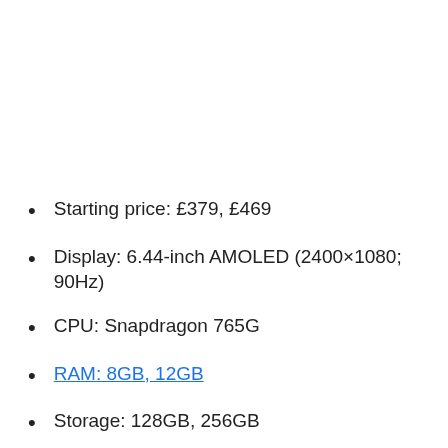Starting price: £379, £469
Display: 6.44-inch AMOLED (2400×1080; 90Hz)
CPU: Snapdragon 765G
RAM: 8GB, 12GB
Storage: 128GB, 256GB
SD Card slot: None